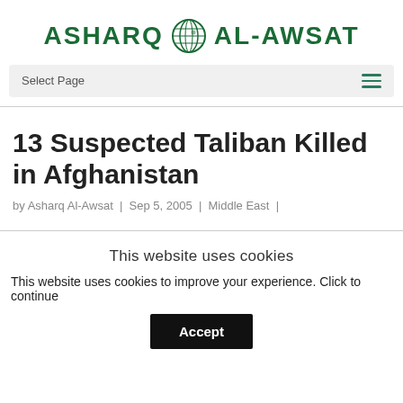[Figure (logo): Asharq Al-Awsat logo with globe icon in dark green]
Select Page
13 Suspected Taliban Killed in Afghanistan
by Asharq Al-Awsat | Sep 5, 2005 | Middle East |
This website uses cookies
This website uses cookies to improve your experience. Click to continue